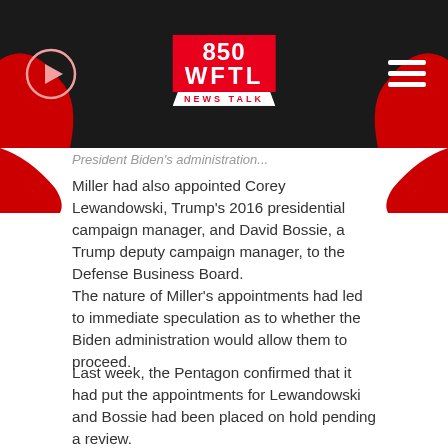[Figure (logo): 850 WFTL News Talk radio station logo in red and white on dark background with play button and hamburger menu]
President Biden's administration...
Miller had also appointed Corey Lewandowski, Trump's 2016 presidential campaign manager, and David Bossie, a Trump deputy campaign manager, to the Defense Business Board.
The nature of Miller's appointments had led to immediate speculation as to whether the Biden administration would allow them to proceed.
Last week, the Pentagon confirmed that it had put the appointments for Lewandowski and Bossie had been placed on hold pending a review.
The resignations will apply only to individuals nominated to boards by the Defense Secretary or other Pentagon officials, will affect...